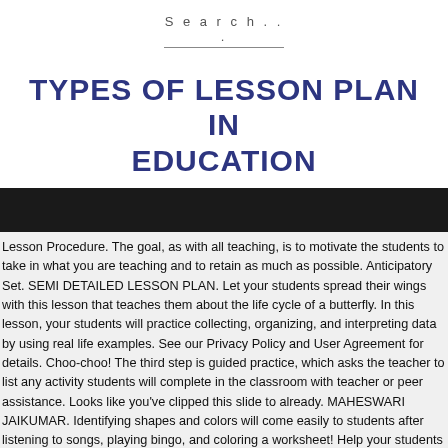Search...
TYPES OF LESSON PLAN IN EDUCATION
Lesson Procedure. The goal, as with all teaching, is to motivate the students to take in what you are teaching and to retain as much as possible. Anticipatory Set. SEMI DETAILED LESSON PLAN. Let your students spread their wings with this lesson that teaches them about the life cycle of a butterfly. In this lesson, your students will practice collecting, organizing, and interpreting data by using real life examples. See our Privacy Policy and User Agreement for details. Choo-choo! The third step is guided practice, which asks the teacher to list any activity students will complete in the classroom with teacher or peer assistance. Looks like you've clipped this slide to already. MAHESWARI JAIKUMAR. Identifying shapes and colors will come easily to students after listening to songs, playing bingo, and coloring a worksheet! Help your students make sense of the greater than, less than and equal to